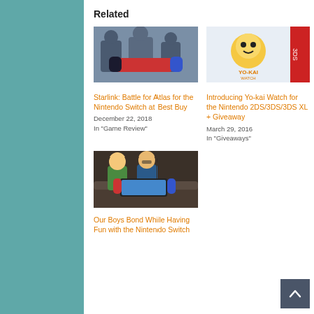Related
[Figure (photo): Photo of people holding Nintendo Switch]
Starlink: Battle for Atlas for the Nintendo Switch at Best Buy
December 22, 2018
In "Game Review"
[Figure (photo): Yo-kai Watch Nintendo 3DS game cover art]
Introducing Yo-kai Watch for the Nintendo 2DS/3DS/3DS XL + Giveaway
March 29, 2016
In "Giveaways"
[Figure (photo): Two boys sitting on a couch playing Nintendo Switch]
Our Boys Bond While Having Fun with the Nintendo Switch